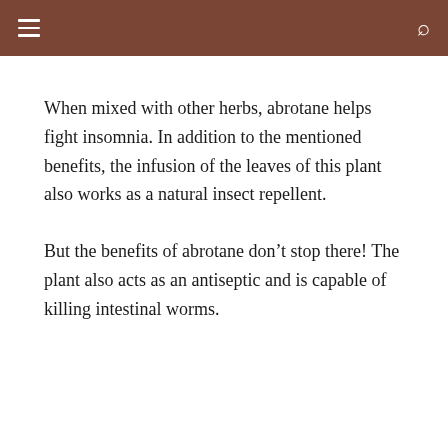≡  🔍
When mixed with other herbs, abrotane helps fight insomnia. In addition to the mentioned benefits, the infusion of the leaves of this plant also works as a natural insect repellent.
But the benefits of abrotane don't stop there! The plant also acts as an antiseptic and is capable of killing intestinal worms.